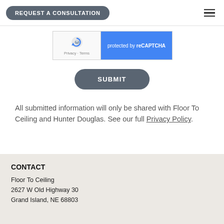REQUEST A CONSULTATION
[Figure (screenshot): reCAPTCHA widget showing logo on left and 'protected by reCAPTCHA' text on blue background on right, with Privacy and Terms links]
SUBMIT
All submitted information will only be shared with Floor To Ceiling and Hunter Douglas. See our full Privacy Policy.
CONTACT
Floor To Ceiling
2627 W Old Highway 30
Grand Island, NE 68803